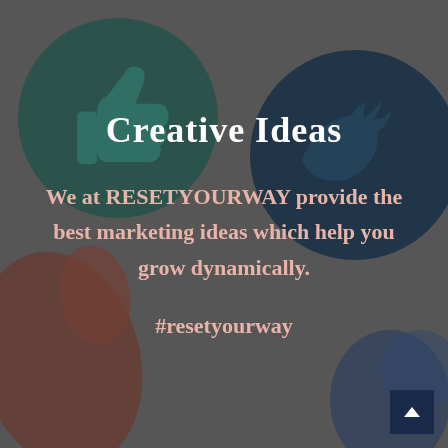[Figure (illustration): Dark grey background with social media icons: a teal/dark green circle with a thumbs-up (like) icon in the upper left, a dark navy blue circle with a Twitter bird icon in the upper right, a brown/rust colored large thumb shape on the lower left, and a blue partial shape on the lower right. Semi-transparent overlapping circles and icons create a social media themed background.]
Creative Ideas
We at RESETYOURWAY provide the best marketing ideas which help you grow dynamically.
#resetyourway